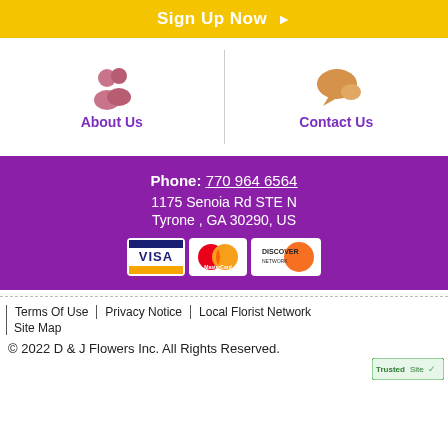Sign Up Now ▶
[Figure (illustration): About Us icon - two person silhouettes in pink/rose color]
About Us
[Figure (illustration): Contact Us icon - speech bubble in orange/tan color]
Contact Us
Phone: 770 964 6564
1175 Senoia Rd STE N
Tyrone , GA 30290, US
[Figure (other): Payment method icons: Visa, MasterCard, Discover]
Terms Of Use | Privacy Notice | Local Florist Network | Site Map
© 2022 D & J Flowers Inc. All Rights Reserved.